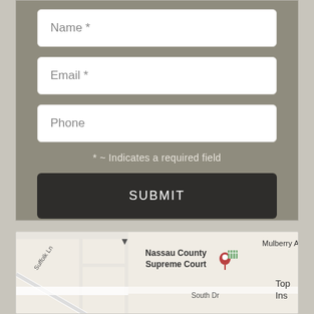Name *
Email *
Phone
* ~ Indicates a required field
SUBMIT
[Figure (map): Street map showing Nassau County Supreme Court location near Suffolk Ln, Mulberry Ave, South Dr, with a location pin marker]